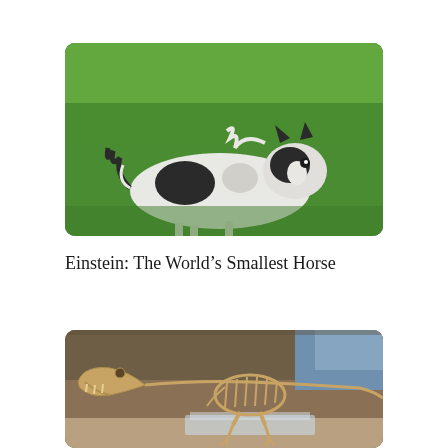[Figure (photo): A small black and white miniature horse running on green grass, viewed from behind/side, showing its distinctive small stature with black and white coloring.]
Einstein: The World's Smallest Horse
[Figure (photo): A T-Rex dinosaur skeleton fossil on display in a museum, mounted on a transparent/glass display platform, with a blurred museum background visible.]